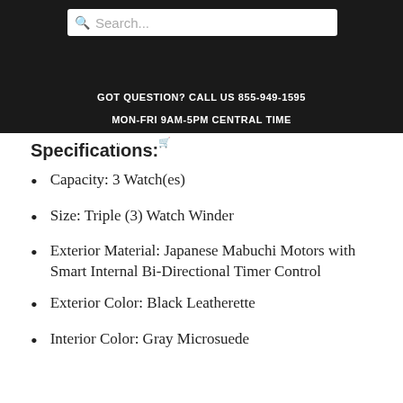GOT QUESTION? CALL US 855-949-1595 MON-FRI 9AM-5PM CENTRAL TIME LOG IN CART (0) CHECKOUT
Specifications:
Capacity: 3 Watch(es)
Size: Triple (3) Watch Winder
Exterior Material: Japanese Mabuchi Motors with Smart Internal Bi-Directional Timer Control
Exterior Color: Black Leatherette
Interior Color: Gray Microsuede